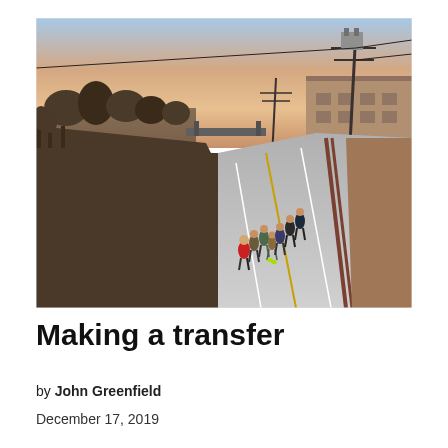[Figure (photo): Aerial/elevated view of a paved multi-use trail running alongside a river on the left and an industrial building and utility poles on the right. A group of about 8 runners are jogging on the trail in winter clothing. The sky shows a pink/orange sunset. Trees line the left bank. Gravel and bare earth are visible on the right.]
Making a transfer
by John Greenfield
December 17, 2019